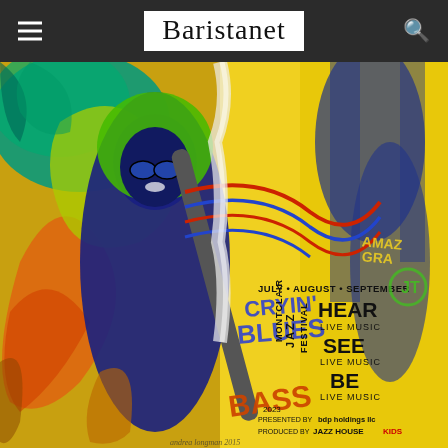Baristanet
[Figure (illustration): Colorful abstract expressionist poster for the Montclair Jazz Festival featuring a jazz musician figure painted in bold blues, greens, oranges, and yellows with text reading CRYIN' BLUES, BASS, JULY • AUGUST • SEPTEMBER, MONTCLAIR JAZZ FESTIVAL, HEAR LIVE MUSIC, SEE LIVE MUSIC, BE LIVE MUSIC, PRESENTED BY bdp holdings llc, PRODUCED BY JAZZ HOUSE KIDS, 2023, artist signature Andrea Longman 2015]